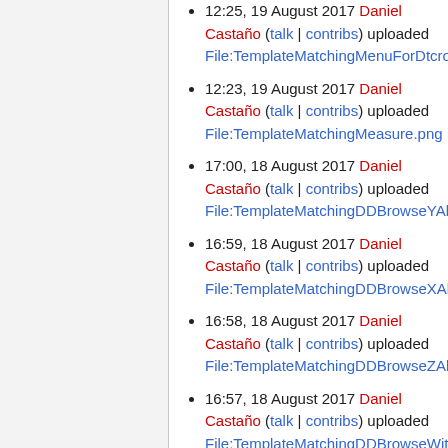12:25, 19 August 2017 Daniel Castaño (talk | contribs) uploaded File:TemplateMatchingMenuForDtcrop.p…
12:23, 19 August 2017 Daniel Castaño (talk | contribs) uploaded File:TemplateMatchingMeasure.png
17:00, 18 August 2017 Daniel Castaño (talk | contribs) uploaded File:TemplateMatchingDDBrowseYAligne…
16:59, 18 August 2017 Daniel Castaño (talk | contribs) uploaded File:TemplateMatchingDDBrowseXAligne…
16:58, 18 August 2017 Daniel Castaño (talk | contribs) uploaded File:TemplateMatchingDDBrowseZAligne…
16:57, 18 August 2017 Daniel Castaño (talk | contribs) uploaded File:TemplateMatchingDDBrowseWithTa…
16:55, 18 August 2017 Daniel Castaño (talk | contribs) uploaded …